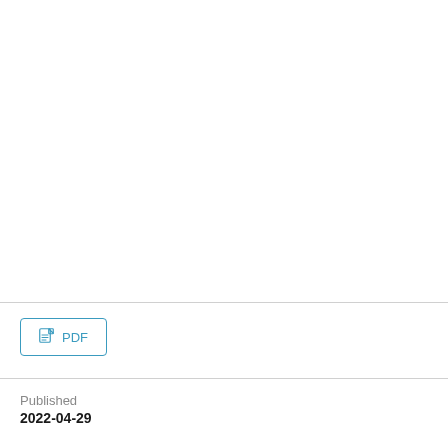[Figure (other): PDF download button with document icon and 'PDF' label, styled with teal/blue border and text]
Published
2022-04-29